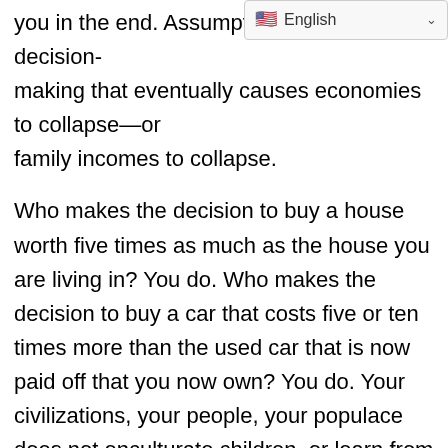[Figure (other): Language selector badge showing US flag and 'English' label with dropdown arrow]
you in the end. Assumptions supp[ort decision-]making that eventually causes economies to collapse—or family incomes to collapse.

Who makes the decision to buy a house worth five times as much as the house you are living in? You do. Who makes the decision to buy a car that costs five or ten times more than the used car that is now paid off that you now own? You do. Your civilizations, your people, your populace does not enculturate children, or learn from the wisdom of history. One of the wonderful elements of your species is that you are ebullient, you are expansive, and you are extremely assertive to move forward with the assumption that progress will always be evident. You, as a species, have also forgotten the many